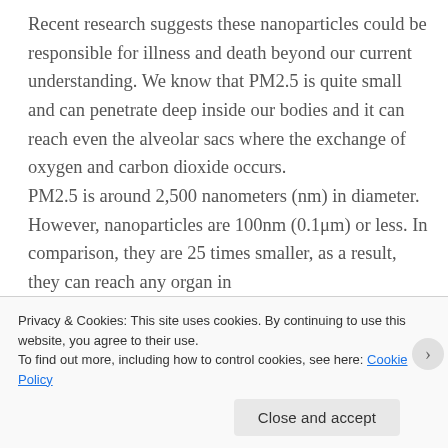Recent research suggests these nanoparticles could be responsible for illness and death beyond our current understanding. We know that PM2.5 is quite small and can penetrate deep inside our bodies and it can reach even the alveolar sacs where the exchange of oxygen and carbon dioxide occurs. PM2.5 is around 2,500 nanometers (nm) in diameter. However, nanoparticles are 100nm (0.1μm) or less. In comparison, they are 25 times smaller, as a result, they can reach any organ in
Privacy & Cookies: This site uses cookies. By continuing to use this website, you agree to their use.
To find out more, including how to control cookies, see here: Cookie Policy